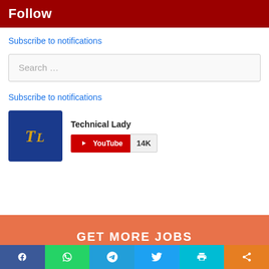Follow
Subscribe to notifications
Search …
Subscribe to notifications
[Figure (logo): Technical Lady YouTube channel widget with TL logo, channel name 'Technical Lady', YouTube subscribe button and 14K subscribers count]
GET MORE JOBS
[Figure (infographic): Bottom social sharing bar with Facebook, WhatsApp, Telegram, Twitter, Print, and Share buttons]